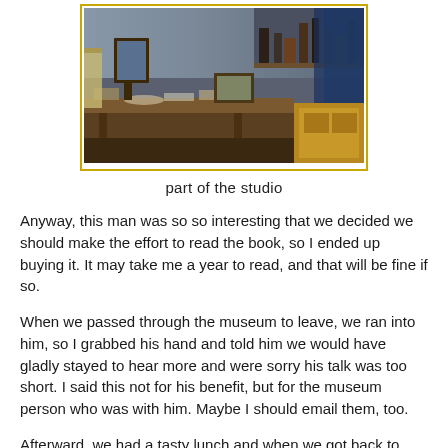[Figure (photo): Interior of an artist's studio showing a cluttered workbench with art supplies, chairs, shelving, frames, and draped fabric in a dimly lit room.]
part of the studio
Anyway, this man was so so interesting that we decided we should make the effort to read the book, so I ended up buying it. It may take me a year to read, and that will be fine if so.
When we passed through the museum to leave, we ran into him, so I grabbed his hand and told him we would have gladly stayed to hear more and were sorry his talk was too short. I said this not for his benefit, but for the museum person who was with him. Maybe I should email them, too.
Afterward, we had a tasty lunch and when we got back to town, stopped at a local and very popular bakery in the hope that we could get a piece of a fancy cake they'd advertised